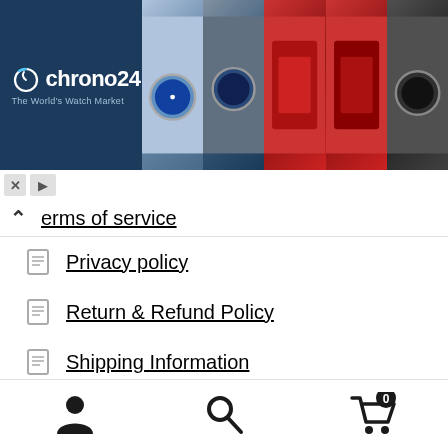[Figure (screenshot): Chrono24 advertisement banner with logo on dark blue background and watch product images]
Terms of service
Privacy policy
Return & Refund Policy
Shipping Information
Contact
Order Tracking
Product Sitemap
Post Sitemap
[Figure (screenshot): Mobile bottom navigation bar with account, search, and cart icons]